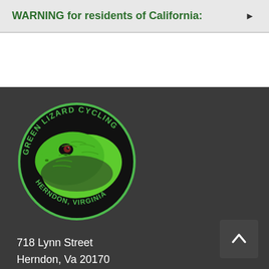WARNING for residents of California:
[Figure (logo): Green Lizard Cycling logo — circular badge with green lizard head on black background, text reading GREEN LIZARD CYCLING HERNDON, VIRGINIA around the edge in green]
718 Lynn Street
Herndon, Va 20170
703-707-2453
Directions & Hours